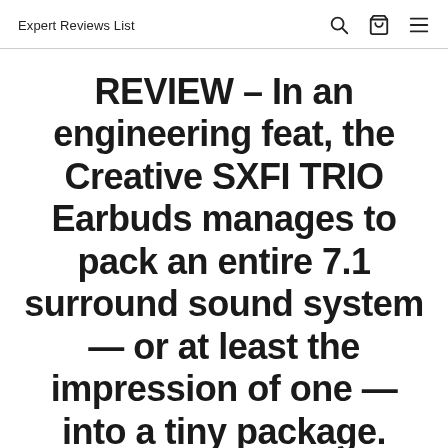Expert Reviews List
REVIEW – In an engineering feat, the Creative SXFI TRIO Earbuds manages to pack an entire 7.1 surround sound system — or at least the impression of one — into a tiny package.